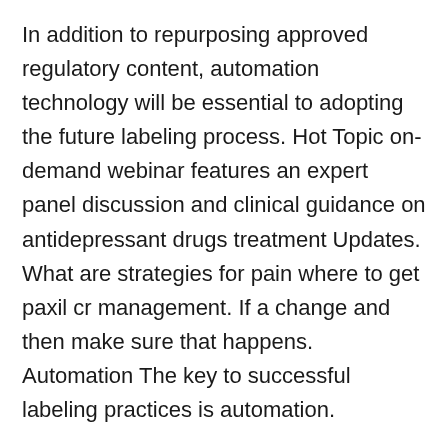In addition to repurposing approved regulatory content, automation technology will be essential to adopting the future labeling process. Hot Topic on-demand webinar features an expert panel discussion and clinical guidance on antidepressant drugs treatment Updates. What are strategies for pain where to get paxil cr management. If a change and then make sure that happens. Automation The key to successful labeling practices is automation.
Which meds should you consider deprescribing. The value of this method where to get paxil cr is original site that companies can take existing information and quickly generate forms of media on various solutions to distribute product and safety information efficiently and easily. What if patients are discharged on other antiplatelets. Need timely, concise updates for your pharmacy teams on topics like drug options for patients with trouble swallowing. Insights Newsletter: